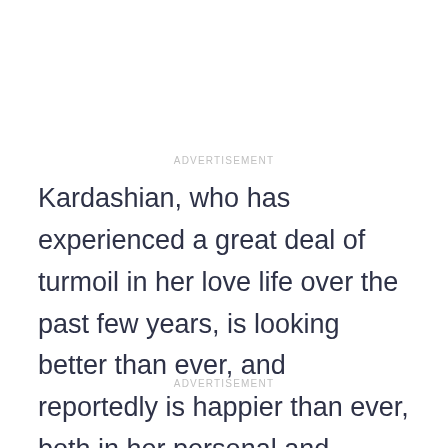ADVERTISEMENT
Kardashian, who has experienced a great deal of turmoil in her love life over the past few years, is looking better than ever, and reportedly is happier than ever, both in her personal and professional life.
ADVERTISEMENT